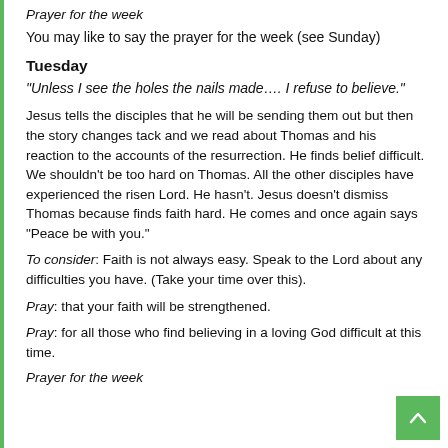Prayer for the week
You may like to say the prayer for the week (see Sunday)
Tuesday
“Unless I see the holes the nails made…. I refuse to believe.”
Jesus tells the disciples that he will be sending them out but then the story changes tack and we read about Thomas and his reaction to the accounts of the resurrection. He finds belief difficult. We shouldn’t be too hard on Thomas. All the other disciples have experienced the risen Lord. He hasn’t. Jesus doesn’t dismiss Thomas because finds faith hard. He comes and once again says “Peace be with you.”
To consider: Faith is not always easy. Speak to the Lord about any difficulties you have. (Take your time over this).
Pray: that your faith will be strengthened.
Pray: for all those who find believing in a loving God difficult at this time.
Prayer for the week